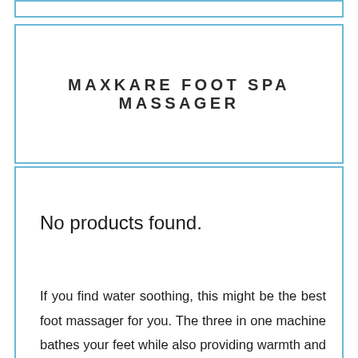MAXKARE FOOT SPA MASSAGER
No products found.
If you find water soothing, this might be the best foot massager for you. The three in one machine bathes your feet while also providing warmth and soothing bubbles.